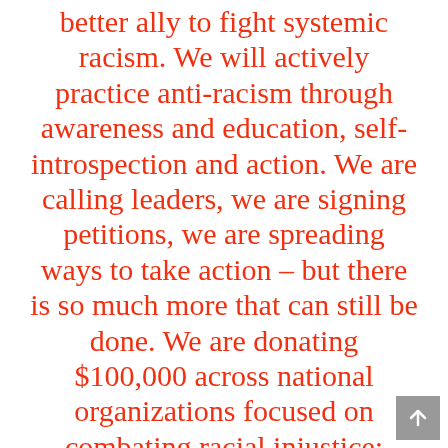better ally to fight systemic racism. We will actively practice anti-racism through awareness and education, self-introspection and action. We are calling leaders, we are signing petitions, we are spreading ways to take action – but there is so much more that can still be done. We are donating $100,000 across national organizations focused on combating racial injustice: Black Lives Matter, NAACP Legal Defense and Education